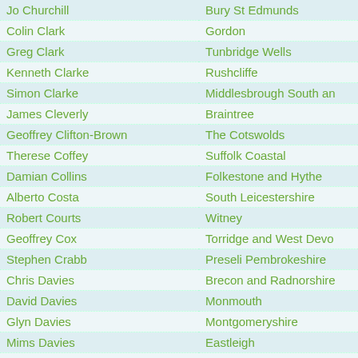| Name | Constituency |
| --- | --- |
| Jo Churchill | Bury St Edmunds |
| Colin Clark | Gordon |
| Greg Clark | Tunbridge Wells |
| Kenneth Clarke | Rushcliffe |
| Simon Clarke | Middlesbrough South an |
| James Cleverly | Braintree |
| Geoffrey Clifton-Brown | The Cotswolds |
| Therese Coffey | Suffolk Coastal |
| Damian Collins | Folkestone and Hythe |
| Alberto Costa | South Leicestershire |
| Robert Courts | Witney |
| Geoffrey Cox | Torridge and West Devo |
| Stephen Crabb | Preseli Pembrokeshire |
| Chris Davies | Brecon and Radnorshire |
| David Davies | Monmouth |
| Glyn Davies | Montgomeryshire |
| Mims Davies | Eastleigh |
| Philip Davies | Shipley |